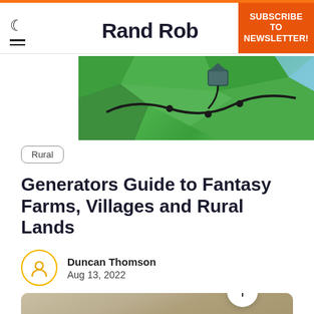Rand Ro
SUBSCRIBE TO NEWSLETTER!
[Figure (map): Fantasy map showing green terrain with black roads/paths and a building icon]
Rural
Generators Guide to Fantasy Farms, Villages and Rural Lands
Duncan Thomson
Aug 13, 2022
[Figure (photo): Blurred grayscale/sepia image of a rural farm or barn building]